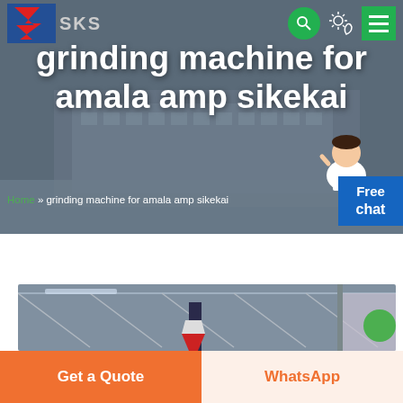[Figure (screenshot): SKS website header with logo, navigation icons (search, theme toggle, menu), large hero image of industrial building in background, main title text overlay, breadcrumb navigation, chat widget with avatar]
grinding machine for amala amp sikekai
Home » grinding machine for amala amp sikekai
[Figure (photo): Industrial grinding machine equipment under a large industrial shed/warehouse roof structure]
Get a Quote
WhatsApp